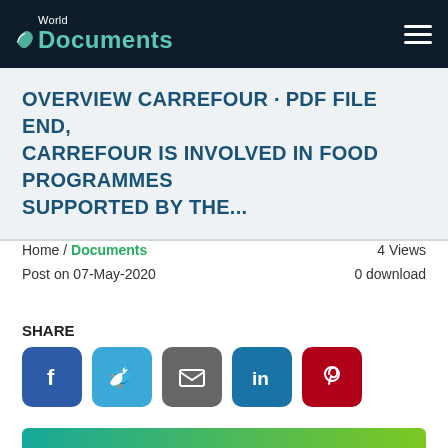World Documents
OVERVIEW CARREFOUR · PDF FILE END, CARREFOUR IS INVOLVED IN FOOD PROGRAMMES SUPPORTED BY THE...
Home / Documents
4 Views
Post on 07-May-2020
0 download
SHARE
[Figure (other): Social share buttons: Facebook, Twitter, Email, LinkedIn, Pinterest]
Download
Report this document